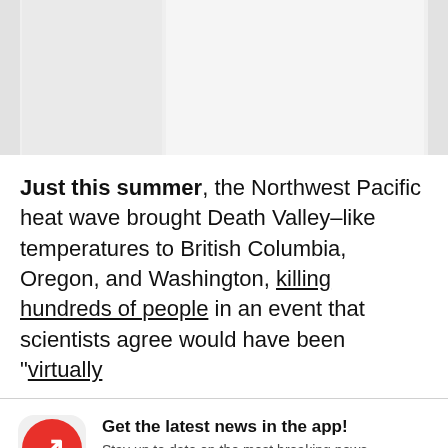[Figure (other): Partial image placeholder showing gray sections at top of page]
Just this summer, the Northwest Pacific heat wave brought Death Valley–like temperatures to British Columbia, Oregon, and Washington, killing hundreds of people in an event that scientists agree would have been "virtually
[Figure (logo): BuzzFeed app notification banner with red circular logo featuring white trending arrow, text: Get the latest news in the app! Stay up to date on the most breaking news, all from your BuzzFeed app.]
Maybe later
Get the app